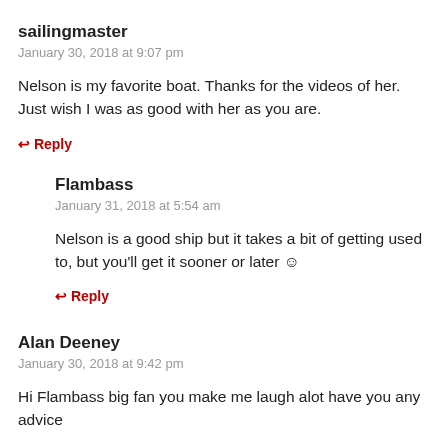sailingmaster
January 30, 2018 at 9:07 pm
Nelson is my favorite boat. Thanks for the videos of her. Just wish I was as good with her as you are.
↩ Reply
Flambass
January 31, 2018 at 5:54 am
Nelson is a good ship but it takes a bit of getting used to, but you'll get it sooner or later ☺
↩ Reply
Alan Deeney
January 30, 2018 at 9:42 pm
Hi Flambass big fan you make me laugh alot have you any advice